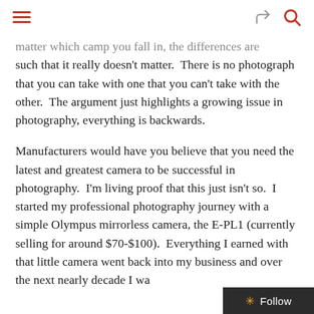≡  ↪ 🔍
matter which camp you fall in, the differences are such that it really doesn't matter.  There is no photograph that you can take with one that you can't take with the other.  The argument just highlights a growing issue in photography, everything is backwards.
Manufacturers would have you believe that you need the latest and greatest camera to be successful in photography.  I'm living proof that this just isn't so.  I started my professional photography journey with a simple Olympus mirrorless camera, the E-PL1 (currently selling for around $70-$100).  Everything I earned with that little camera went back into my business and over the next nearly decade I wa
✳ Follow